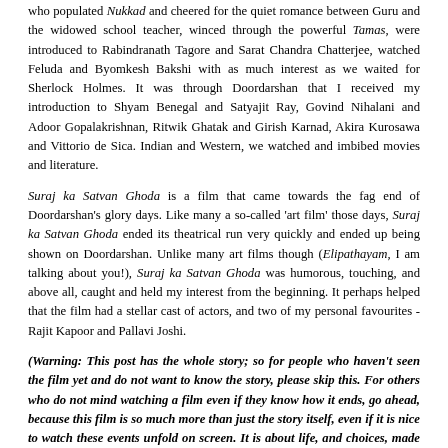who populated Nukkad and cheered for the quiet romance between Guru and the widowed school teacher, winced through the powerful Tamas, were introduced to Rabindranath Tagore and Sarat Chandra Chatterjee, watched Feluda and Byomkesh Bakshi with as much interest as we waited for Sherlock Holmes. It was through Doordarshan that I received my introduction to Shyam Benegal and Satyajit Ray, Govind Nihalani and Adoor Gopalakrishnan, Ritwik Ghatak and Girish Karnad, Akira Kurosawa and Vittorio de Sica. Indian and Western, we watched and imbibed movies and literature.
Suraj ka Satvan Ghoda is a film that came towards the fag end of Doordarshan's glory days. Like many a so-called 'art film' those days, Suraj ka Satvan Ghoda ended its theatrical run very quickly and ended up being shown on Doordarshan. Unlike many art films though (Elipathayam, I am talking about you!), Suraj ka Satvan Ghoda was humorous, touching, and above all, caught and held my interest from the beginning. It perhaps helped that the film had a stellar cast of actors, and two of my personal favourites - Rajit Kapoor and Pallavi Joshi.
(Warning: This post has the whole story; so for people who haven't seen the film yet and do not want to know the story, please skip this. For others who do not mind watching a film even if they know how it ends, go ahead, because this film is so much more than just the story itself, even if it is nice to watch these events unfold on screen. It is about life, and choices, made or not taken, and how decisions once made, affect not only the person who is doing the deciding, but others whose lives are interconnected,